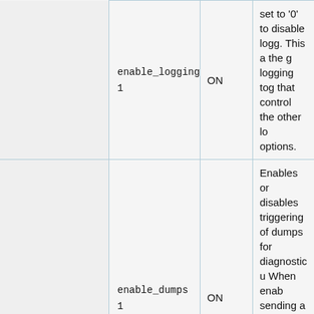|  | Parameter | Default | Description |
| --- | --- | --- | --- |
|  | enable_logging 1 | ON | set to '0' to disable logg. This a the g logging tog that control the other lo options. |
|  | enable_dumps 1 | ON | Enables or disables triggering of dumps for diagnostic u When enab sending a SIGUSR1 s to cpud will trigger a du Sending SIGUSR2 w reset the du |